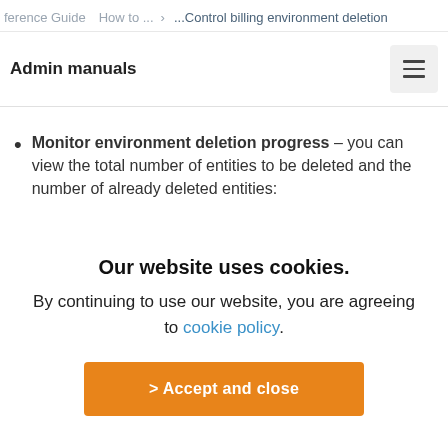ference Guide  How to ...  ...Control billing environment deletion
Admin manuals
Monitor environment deletion progress – you can view the total number of entities to be deleted and the number of already deleted entities:
Our website uses cookies.
By continuing to use our website, you are agreeing to cookie policy.
> Accept and close